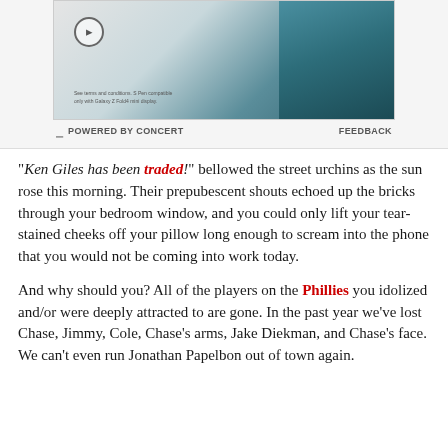[Figure (other): Advertisement banner showing a Samsung Galaxy Z Fold device in teal/dark green color against a light background, with a circle arrow button on the left and small terms text at bottom left. Powered by Concert bar below.]
"Ken Giles has been traded!" bellowed the street urchins as the sun rose this morning. Their prepubescent shouts echoed up the bricks through your bedroom window, and you could only lift your tear-stained cheeks off your pillow long enough to scream into the phone that you would not be coming into work today.
And why should you? All of the players on the Phillies you idolized and/or were deeply attracted to are gone. In the past year we've lost Chase, Jimmy, Cole, Chase's arms, Jake Diekman, and Chase's face. We can't even run Jonathan Papelbon out of town again.